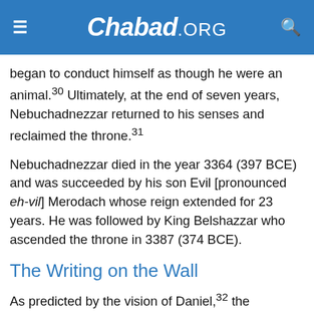Chabad.ORG
began to conduct himself as though he were an animal.30 Ultimately, at the end of seven years, Nebuchadnezzar returned to his senses and reclaimed the throne.31
Nebuchadnezzar died in the year 3364 (397 BCE) and was succeeded by his son Evil [pronounced eh-vil] Merodach whose reign extended for 23 years. He was followed by King Belshazzar who ascended the throne in 3387 (374 BCE).
The Writing on the Wall
As predicted by the vision of Daniel,32 the kingdoms of